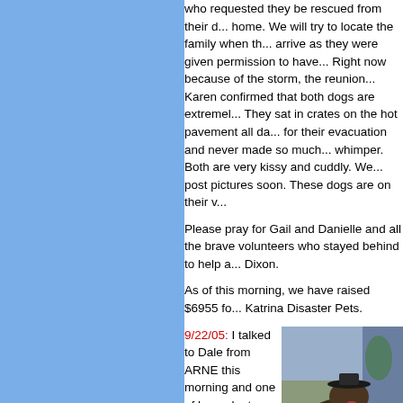who requested they be rescued from their d... home. We will try to locate the family when th... arrive as they were given permission to have... Right now because of the storm, the reunion... Karen confirmed that both dogs are extremel... They sat in crates on the hot pavement all da... for their evacuation and never made so much... whimper. Both are very kissy and cuddly. We... post pictures soon. These dogs are on their v...
Please pray for Gail and Danielle and all the brave volunteers who stayed behind to help a... Dixon.
As of this morning, we have raised $6955 fo... Katrina Disaster Pets.
9/22/05: I talked to Dale from ARNE this morning and one of her volunteers picked up
[Figure (photo): Photo of two dogs outdoors, one larger dog wearing a hat and a smaller lighter-colored dog, with a person's arm visible petting them]